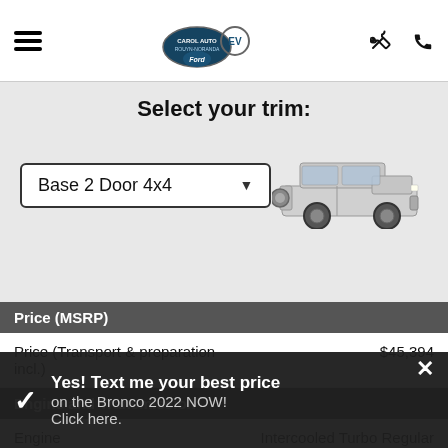Carol Auto Ford — navigation header with hamburger menu, logo, and icons
Select your trim:
Base 2 Door 4x4 [dropdown]
[Figure (photo): Silver Ford Bronco 2-door SUV shown from side angle]
Price (MSRP)
Price (Transport & preparation incl.)  $45,394
Engine and Transmission
Engine  Intercooled Turbo Regular Unleaded I-4
Displacement  2.3 L/140
Yes! Text me your best price on the Bronco 2022 NOW! Click here.